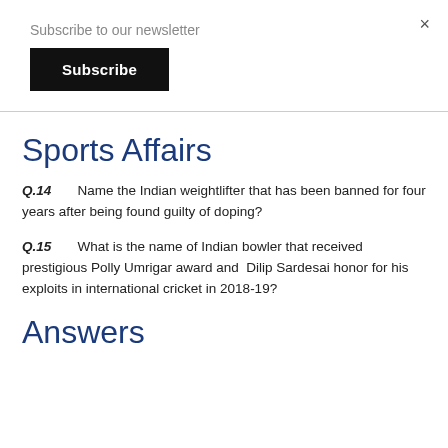×
Subscribe to our newsletter
Subscribe
Sports Affairs
Q.14   Name the Indian weightlifter that has been banned for four years after being found guilty of doping?
Q.15   What is the name of Indian bowler that received prestigious Polly Umrigar award and  Dilip Sardesai honor for his exploits in international cricket in 2018-19?
Answers